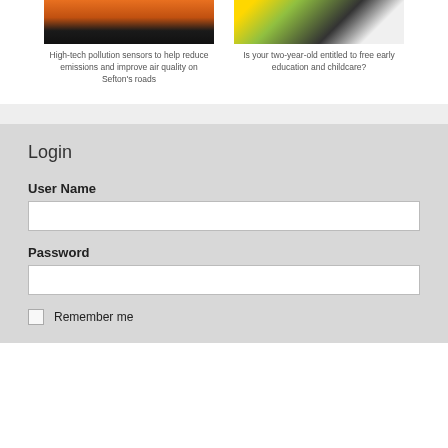[Figure (photo): Sunset/dusk landscape scene with dark silhouette horizon and orange sky, related to pollution sensors on roads]
High-tech pollution sensors to help reduce emissions and improve air quality on Sefton’s roads
[Figure (photo): Child wearing colorful clothing, related to free early education and childcare]
Is your two-year-old entitled to free early education and childcare?
Login
User Name
Password
Remember me